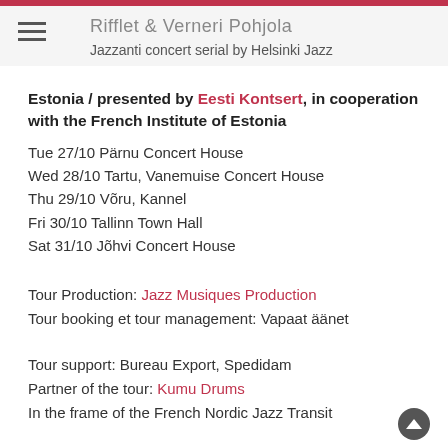Rifflet & Verneri Pohjola — Jazzanti concert serial by Helsinki Jazz
Estonia / presented by Eesti Kontsert, in cooperation with the French Institute of Estonia
Tue 27/10 Pärnu Concert House
Wed 28/10 Tartu, Vanemuise Concert House
Thu 29/10 Võru, Kannel
Fri 30/10 Tallinn Town Hall
Sat 31/10 Jõhvi Concert House
Tour Production: Jazz Musiques Production
Tour booking et tour management: Vapaat äänet
Tour support: Bureau Export, Spedidam
Partner of the tour: Kumu Drums
In the frame of the French Nordic Jazz Transit